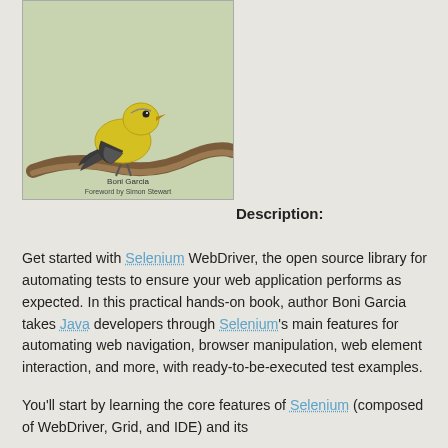[Figure (illustration): Book cover illustration showing a yellow bird perched on a branch, with text 'Boni Garcia' and 'Foreword by Simon Stewart']
Description:
Get started with Selenium WebDriver, the open source library for automating tests to ensure your web application performs as expected. In this practical hands-on book, author Boni Garcia takes Java developers through Selenium's main features for automating web navigation, browser manipulation, web element interaction, and more, with ready-to-be-executed test examples.
You'll start by learning the core features of Selenium (composed of WebDriver, Grid, and IDE) and its